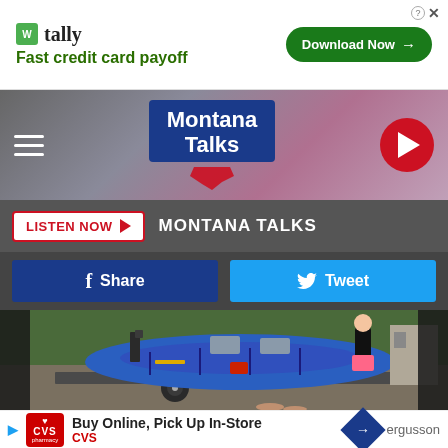[Figure (screenshot): Advertisement banner for Tally - Fast credit card payoff with Download Now button]
[Figure (screenshot): Montana Talks radio station navigation bar with hamburger menu, Montana Talks logo, and red play button]
[Figure (screenshot): Listen Now button and Montana Talks label on dark bar]
[Figure (screenshot): Social sharing buttons: Facebook Share and Twitter Tweet]
[Figure (photo): A blue inflatable raft on a trailer with a girl in pink shorts standing beside it, outdoors with trees in background]
[Figure (screenshot): CVS Pharmacy advertisement: Buy Online, Pick Up In-Store with navigation arrow and partial text ergusson]